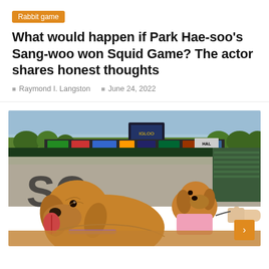Rabbit game
What would happen if Park Hae-soo's Sang-woo won Squid Game? The actor shares honest thoughts
Raymond I. Langston   June 24, 2022
[Figure (photo): Two golden retriever dogs at a baseball stadium. The larger dog in the foreground has its tongue out and appears to be sitting on the field near large painted letters. A smaller dog in the background wears a pink shirt and is being held on a leash by a person's hand. Stadium seating and outfield advertising signs are visible in the background.]